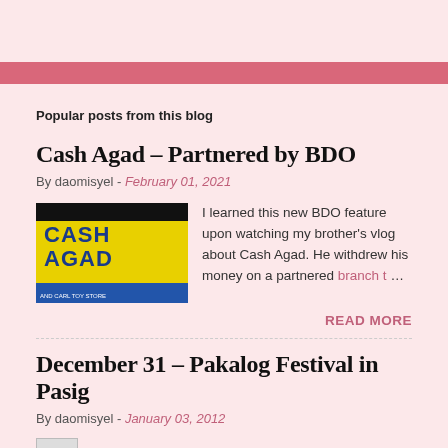Popular posts from this blog
Cash Agad – Partnered by BDO
By daomisyel - February 01, 2021
[Figure (photo): Photo of a Cash Agad and Carl Toy Store sign with yellow background and blue text]
I learned this new BDO feature upon watching my brother's vlog about Cash Agad. He withdrew his money on a partnered branch t…
READ MORE
December 31 – Pakalog Festival in Pasig
By daomisyel - January 03, 2012